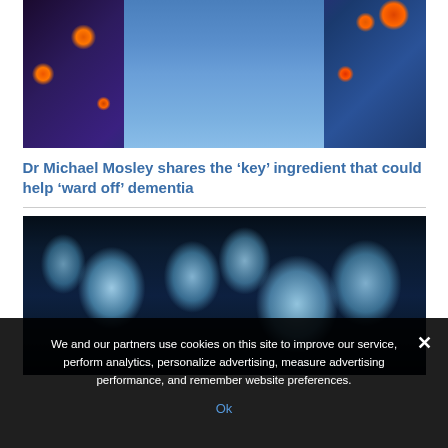[Figure (photo): Photo of Dr Michael Mosley with glasses and blue shirt, overlaid with colorful neuron/brain cell illustration in purple and orange tones]
Dr Michael Mosley shares the 'key' ingredient that could help 'ward off' dementia
[Figure (photo): Brain MRI scan images on a dark background showing multiple brain cross-sections in blue-white tones]
We and our partners use cookies on this site to improve our service, perform analytics, personalize advertising, measure advertising performance, and remember website preferences.
Ok